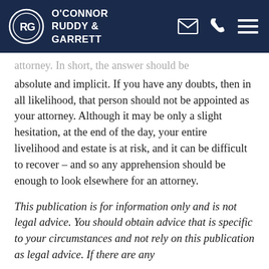O'Connor Ruddy & Garrett
attorney. In short, the answer should be absolute and implicit. If you have any doubts, then in all likelihood, that person should not be appointed as your attorney. Although it may be only a slight hesitation, at the end of the day, your entire livelihood and estate is at risk, and it can be difficult to recover – and so any apprehension should be enough to look elsewhere for an attorney.
This publication is for information only and is not legal advice. You should obtain advice that is specific to your circumstances and not rely on this publication as legal advice. If there are any